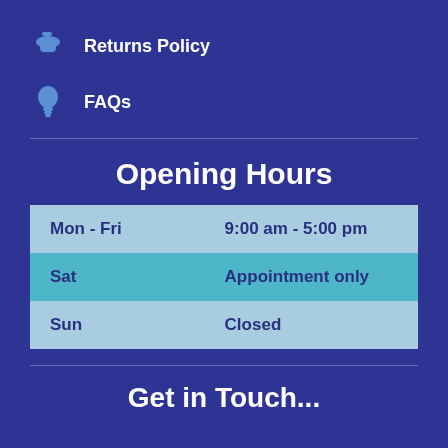Returns Policy
FAQs
Opening Hours
| Day | Hours |
| --- | --- |
| Mon - Fri | 9:00 am - 5:00 pm |
| Sat | Appointment only |
| Sun | Closed |
Get in Touch...